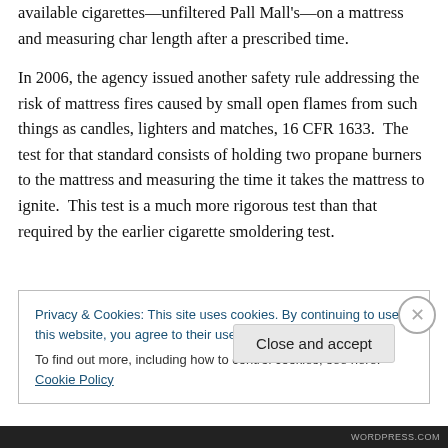available cigarettes—unfiltered Pall Mall's—on a mattress and measuring char length after a prescribed time.
In 2006, the agency issued another safety rule addressing the risk of mattress fires caused by small open flames from such things as candles, lighters and matches, 16 CFR 1633. The test for that standard consists of holding two propane burners to the mattress and measuring the time it takes the mattress to ignite. This test is a much more rigorous test than that required by the earlier cigarette smoldering test.
Privacy & Cookies: This site uses cookies. By continuing to use this website, you agree to their use. To find out more, including how to control cookies, see here: Cookie Policy
Close and accept
WORDPRESS.COM